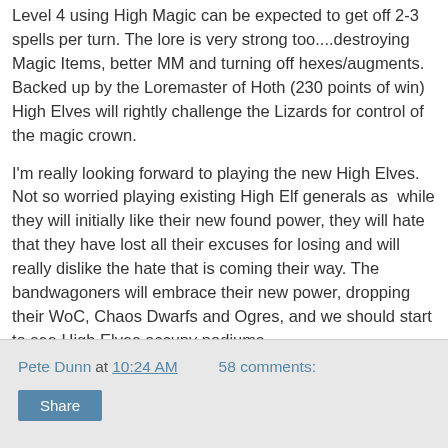Level 4 using High Magic can be expected to get off 2-3 spells per turn. The lore is very strong too....destroying Magic Items, better MM and turning off hexes/augments. Backed up by the Loremaster of Hoth (230 points of win) High Elves will rightly challenge the Lizards for control of the magic crown.
I'm really looking forward to playing the new High Elves. Not so worried playing existing High Elf generals as  while they will initially like their new found power, they will hate that they have lost all their excuses for losing and will really dislike the hate that is coming their way. The bandwagoners will embrace their new power, dropping their WoC, Chaos Dwarfs and Ogres, and we should start to see High Elves occupy podiums.
The meta is dead, long live the meta!
Pete Dunn at 10:24 AM    58 comments:    Share